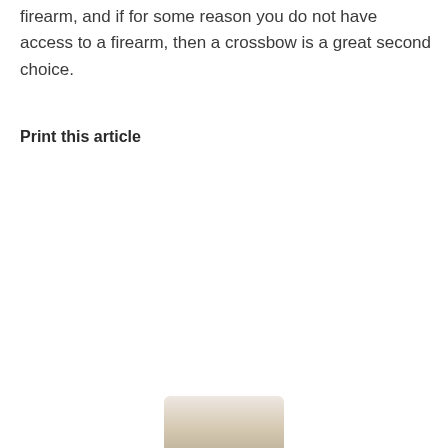firearm, and if for some reason you do not have access to a firearm, then a crossbow is a great second choice.
Print this article
[Figure (photo): Partial photo of an object visible at the bottom of the page, cropped.]